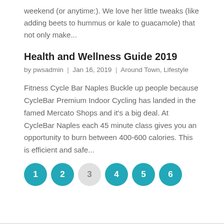weekend (or anytime:). We love her little tweaks (like adding beets to hummus or kale to guacamole) that not only make...
Health and Wellness Guide 2019
by pwsadmin | Jan 16, 2019 | Around Town, Lifestyle
Fitness Cycle Bar Naples Buckle up people because CycleBar Premium Indoor Cycling has landed in the famed Mercato Shops and it's a big deal. At CycleBar Naples each 45 minute class gives you an opportunity to burn between 400-600 calories. This is efficient and safe...
1
2
3
4
5
6